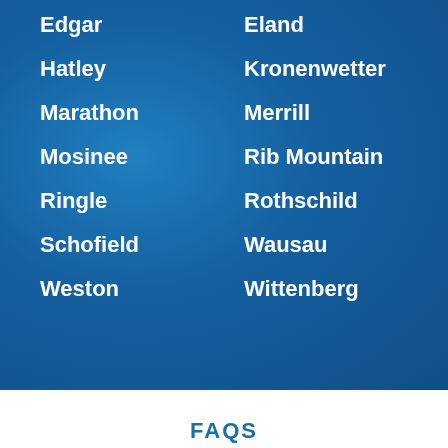Edgar
Eland
Hatley
Kronenwetter
Marathon
Merrill
Mosinee
Rib Mountain
Ringle
Rothschild
Schofield
Wausau
Weston
Wittenberg
FAQS